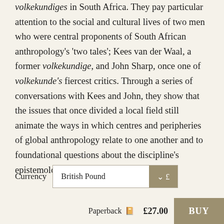volkekundiges in South Africa. They pay particular attention to the social and cultural lives of two men who were central proponents of South African anthropology's 'two tales'; Kees van der Waal, a former volkekundige, and John Sharp, once one of volkekunde's fiercest critics. Through a series of conversations with Kees and John, they show that the issues that once divided a local field still animate the ways in which centres and peripheries of global anthropology relate to one another and to foundational questions about the discipline's epistemology and political positionality.
Currency   British Pound  ∨ £
Paperback  £27.00   BUY